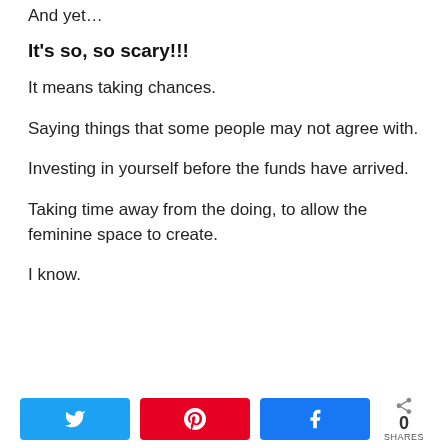And yet…
It's so, so scary!!!
It means taking chances.
Saying things that some people may not agree with.
Investing in yourself before the funds have arrived.
Taking time away from the doing, to allow the feminine space to create.
I know.
0 SHARES — Twitter, Pinterest, Facebook share buttons